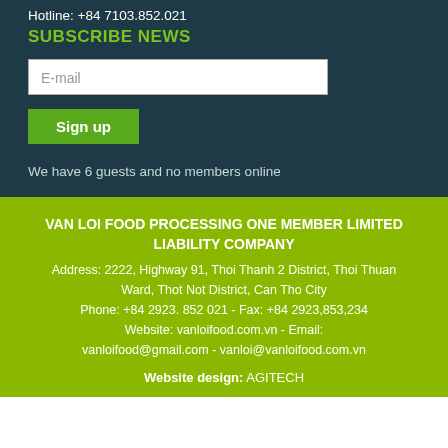Hotline: +84 7103.852.021
SUBSCRIBE NEWS
E-mail
Sign up
We have 6 guests and no members online
VAN LOI FOOD PROCESSING ONE MEMBER LIMITED LIABILITY COMPANY
Address: 2222, Highway 91, Thoi Thanh 2 District, Thoi Thuan Ward, Thot Not District, Can Tho City
Phone: +84 2923. 852 021 - Fax: +84 2923,853,234
Website: vanloifood.com.vn - Email: vanloifood@gmail.com - vanloi@vanloifood.com.vn
Website design: AGITECH